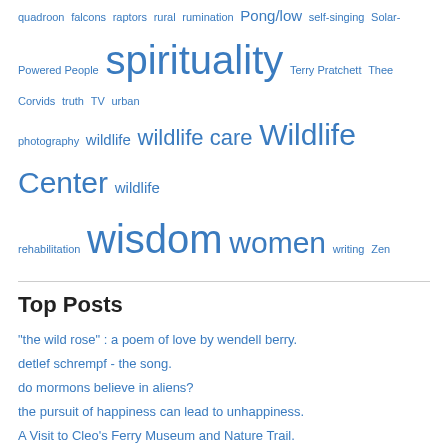quadroon falcons raptors rural rumination Pong/low self-singing Solar-Powered People spirituality Terry Pratchett Thee Corvids truth TV urban photography wildlife wildlife care Wildlife Center wildlife rehabilitation wisdom women writing Zen
Top Posts
"the wild rose" : a poem of love by wendell berry.
detlef schrempf - the song.
do mormons believe in aliens?
the pursuit of happiness can lead to unhappiness.
A Visit to Cleo's Ferry Museum and Nature Trail.
What is the hardest part about being an actor/actress in Hollywood?
playing guitar with DADGAD tuning.. is it really easier?
dumb american, dumb american, she was a dumb american..
ba ba ba ba - an unsuccessful but interesting quest for a song.
"East of Eden" by Leif Vollebekk... A truly beautiful song of peaceful longing.